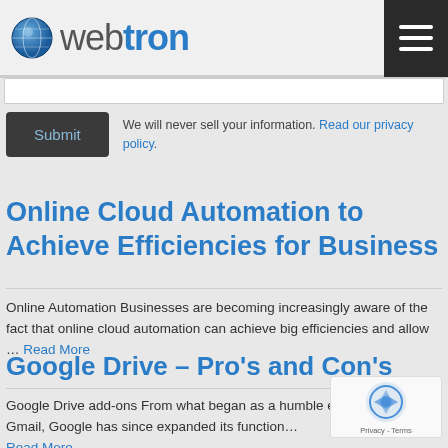webtron
We will never sell your information. Read our privacy policy.
Submit
Online Cloud Automation to Achieve Efficiencies for Business
Online Automation Businesses are becoming increasingly aware of the fact that online cloud automation can achieve big efficiencies and allow … Read More
Google Drive – Pro's and Con's
Google Drive add-ons From what began as a humble em… known as Gmail, Google has since expanded its function… Read More
[Figure (logo): reCAPTCHA logo with text Privacy - Terms]